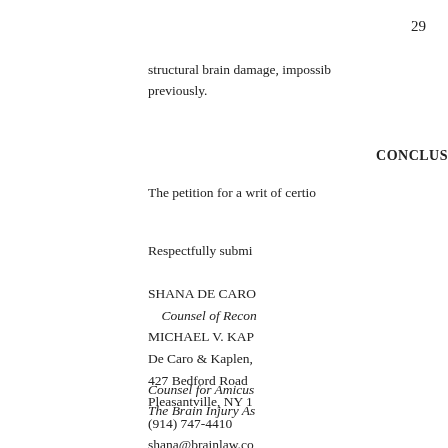29
structural brain damage, impossible previously.
CONCLUSION
The petition for a writ of certio
Respectfully submi
SHANA DE CARO
    Counsel of Recon
MICHAEL V. KAP
De Caro & Kaplen,
427 Bedford Road
Pleasantville, NY 1
(914) 747-4410
shana@brainlaw.co
Counsel for Amicus
The Brain Injury As